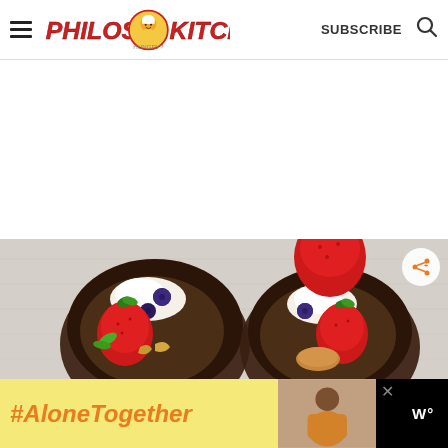Philos Kitchen — SUBSCRIBE
[Figure (photo): White space / advertisement placeholder area]
[Figure (photo): Two glass bowls of chocolate mousse or pudding dessert topped with whipped cream, fresh strawberries, blueberries, and cashews on a white wooden surface]
WHAT'S NEXT → HOMEMADE TORTELLINI...
#AloneTogether